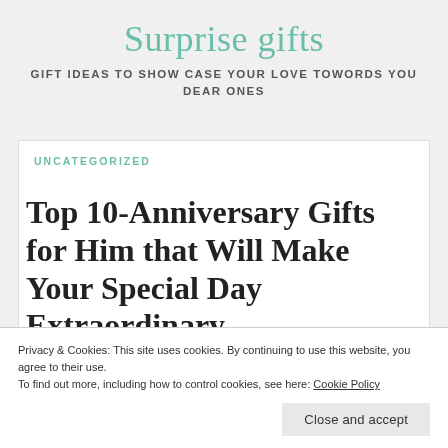Surprise gifts
GIFT IDEAS TO SHOW CASE YOUR LOVE TOWORDS YOU DEAR ONES
UNCATEGORIZED
Top 10-Anniversary Gifts for Him that Will Make Your Special Day Extraordinary
Privacy & Cookies: This site uses cookies. By continuing to use this website, you agree to their use.
To find out more, including how to control cookies, see here: Cookie Policy
Close and accept